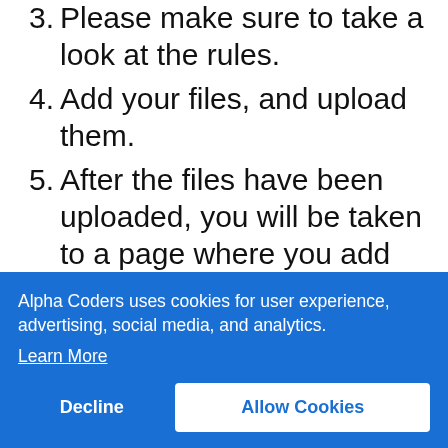3. Please make sure to take a look at the rules.
4. Add your files, and upload them.
5. After the files have been uploaded, you will be taken to a page where you add information to the images.
6. New users are limited to 25 submissions at a time. This limit can be lifted by...
Alpha Coders uses cookies for user experience, advertising, social media, and analytics. Learn More
Decline | Allow Cookies